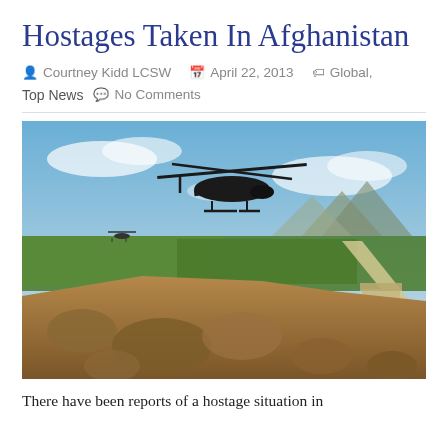Hostages Taken In Afghanistan
Courtney Kidd LCSW   April 22, 2013   Global,   Top News   No Comments
[Figure (photo): A military helicopter (Black Hawk silhouette) flying over a rocky hillside with green fields, a road, and mountains in the background under a partly cloudy blue sky in Afghanistan. A second smaller helicopter is visible in the distance.]
There have been reports of a hostage situation in